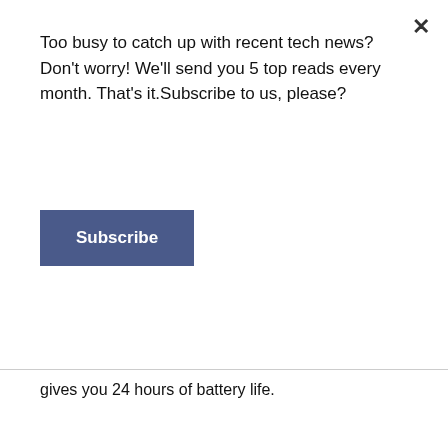Too busy to catch up with recent tech news? Don't worry! We'll send you 5 top reads every month. That's it.Subscribe to us, please?
Subscribe
gives you 24 hours of battery life.
[xxi] Fitbit Health Coaching is only available to adults ages 18+ in the U.S. and in Singapore via the Live Healthy SG program.
[xxii] Coral and rainbow sold exclusively at Fitbit.com.
[xxiii] Pendleton accessories are only available at Fitbit.com, Pendleton-USA.com and select Pendleton